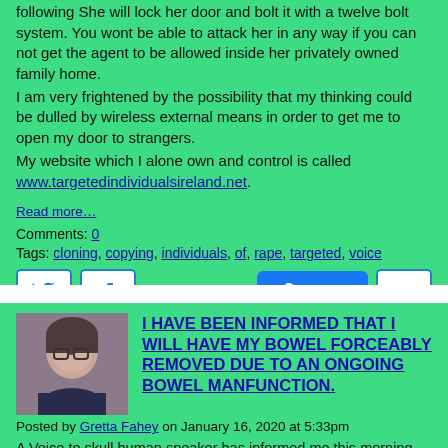following  She will lock her door and bolt it with a twelve bolt system. You wont be able to attack her in any way if you can not get the agent to be allowed inside her privately owned family home.
I am very frightened by the possibility that my thinking could be dulled by wireless external means in order to get me to open my door to strangers.
My website which I alone own and control is called www.targetedindividualsireland.net.
Read more…
Comments: 0
Tags: cloning, copying, individuals, of, rape, targeted, voice
[Figure (other): Social media buttons: Twitter bird icon, Facebook f icon, Like 0 button (blue), heart icon button]
[Figure (photo): Avatar photo of a woman with glasses]
I HAVE BEEN INFORMED THAT I WILL HAVE MY BOWEL FORCEABLY REMOVED DUE TO AN ONGOING BOWEL MANFUNCTION.
Posted by Gretta Fahey on January 16, 2020 at 5:33pm
A Voice to skull human speaker has informed me this morning that I will have my bowel forceably removed by theml because of a bowel